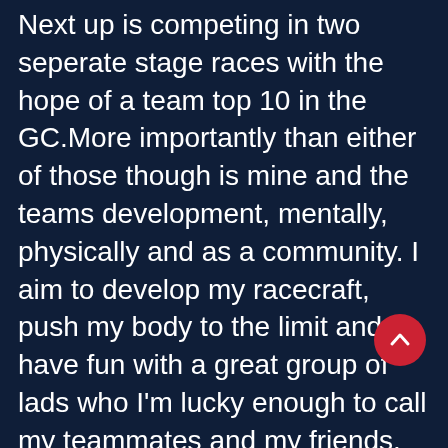Next up is competing in two seperate stage races with the hope of a team top 10 in the GC.More importantly than either of those though is mine and the teams development, mentally, physically and as a community. I aim to develop my racecraft, push my body to the limit and have fun with a great group of lads who I'm lucky enough to call my teammates and my friends.
Posted in All News, Home Banner, Rider StoriesLeave a Comment on I'm a small 23 year old with a serious cycling problem
Hill climbing is a test of your